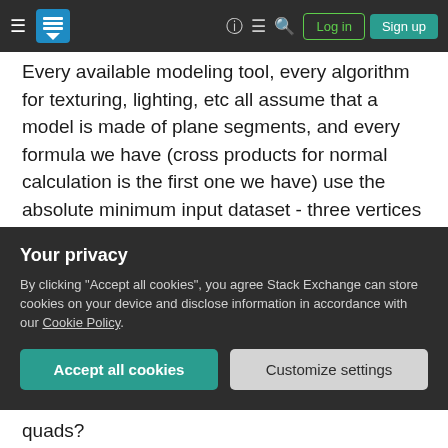Stack Exchange navigation bar with hamburger menu, logo, help, chat, search, Log in, Sign up
Every available modeling tool, every algorithm for texturing, lighting, etc all assume that a model is made of plane segments, and every formula we have (cross products for normal calculation is the first one we have) use the absolute minimum input dataset - three vertices define a plane, and the plane is what we need to do all of the fancy stuff.
You could certainly write an engine to work with quads, but you'd find yourself ignoring the forth vertex in just about every case, except for when you (frequently) would need to make sure it's coplanar
Your privacy
By clicking "Accept all cookies", you agree Stack Exchange can store cookies on your device and disclose information in accordance with our Cookie Policy.
quads?